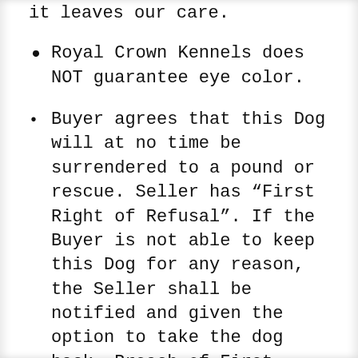it leaves our care.
Royal Crown Kennels does NOT guarantee eye color.
Buyer agrees that this Dog will at no time be surrendered to a pound or rescue. Seller has “First Right of Refusal”. If the Buyer is not able to keep this Dog for any reason, the Seller shall be notified and given the option to take the dog back. Breach of First Right of Refusal is subject to damages to the Seller. Contact Royal Crown Kennels before considering re-homing your dog.  We will do everything we can to help you or we will take the dog back, no questions